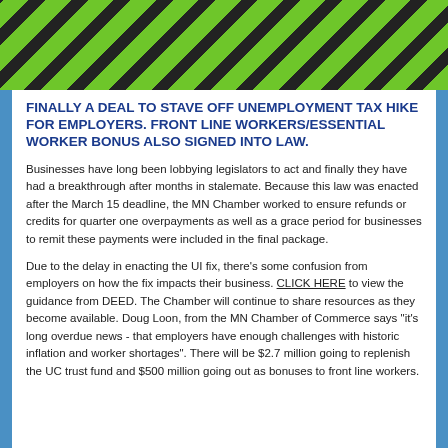[Figure (illustration): Green and black diagonal stripe pattern banner/header image]
FINALLY A DEAL TO STAVE OFF UNEMPLOYMENT TAX HIKE FOR EMPLOYERS. FRONT LINE WORKERS/ESSENTIAL WORKER BONUS ALSO SIGNED INTO LAW.
Businesses have long been lobbying legislators to act and finally they have had a breakthrough after months in stalemate. Because this law was enacted after the March 15 deadline, the MN Chamber worked to ensure refunds or credits for quarter one overpayments as well as a grace period for businesses to remit these payments were included in the final package.
Due to the delay in enacting the UI fix, there's some confusion from employers on how the fix impacts their business. CLICK HERE to view the guidance from DEED. The Chamber will continue to share resources as they become available. Doug Loon, from the MN Chamber of Commerce says "it's long overdue news - that employers have enough challenges with historic inflation and worker shortages". There will be $2.7 million going to replenish the UC trust fund and $500 million going out as bonuses to front line workers.